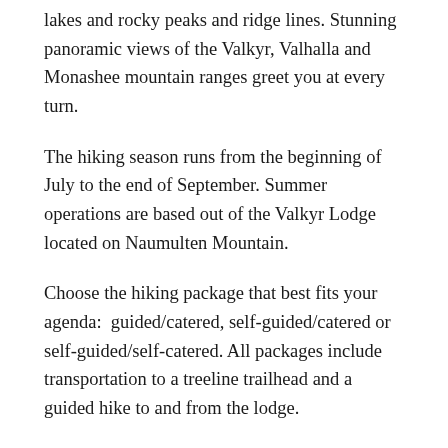lakes and rocky peaks and ridge lines. Stunning panoramic views of the Valkyr, Valhalla and Monashee mountain ranges greet you at every turn.
The hiking season runs from the beginning of July to the end of September. Summer operations are based out of the Valkyr Lodge located on Naumulten Mountain.
Choose the hiking package that best fits your agenda:  guided/catered, self-guided/catered or self-guided/self-catered. All packages include transportation to a treeline trailhead and a guided hike to and from the lodge.
LODGE